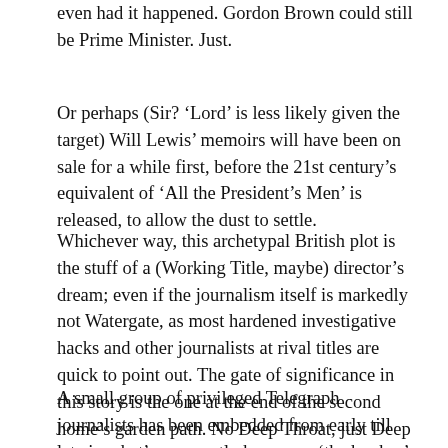even had it happened. Gordon Brown could still be Prime Minister. Just.
Or perhaps (Sir? ‘Lord’ is less likely given the target) Will Lewis’ memoirs will have been on sale for a while first, before the 21st century’s equivalent of ‘All the President’s Men’ is released, to allow the dust to settle.
Whichever way, this archetypal British plot is the stuff of a (Working Title, maybe) director’s dream; even if the journalism itself is markedly not Watergate, as most hardened investigative hacks and other journalists at rival titles are quick to point out. The gate of significance in this story is the one at the end of the second home’s garden path. No Deep Throat, just Deep Pockets.
A small group of privileged Telegraph journalists has been embedded from early till late in what’s apparently known as ‘the bunker’ – a room separate from the main newsroom, away from the change that’s come from the Twitter followers